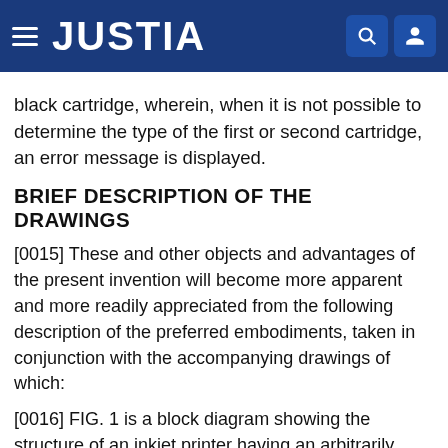JUSTIA
black cartridge, wherein, when it is not possible to determine the type of the first or second cartridge, an error message is displayed.
BRIEF DESCRIPTION OF THE DRAWINGS
[0015] These and other objects and advantages of the present invention will become more apparent and more readily appreciated from the following description of the preferred embodiments, taken in conjunction with the accompanying drawings of which:
[0016] FIG. 1 is a block diagram showing the structure of an inkjet printer having an arbitrarily mountable cartridge according to an embodiment of the present invention;
[0017] FIG. 2 is a flow chart of the inkjet printer